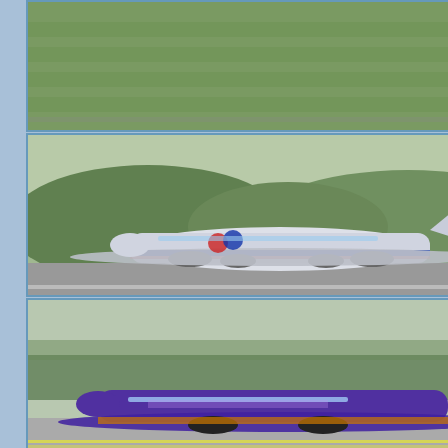[Figure (photo): Small aircraft on green airfield, top-down view of green hill in background]
[Figure (photo): Vintage propeller aircraft (Red Bull livery) taxiing on runway, green hills in background]
[Figure (photo): Purple Airbus aircraft on runway with trees in background]
[Figure (photo): Small propeller aircraft in snow/winter setting]
[Figure (photo): Aircraft in flight, partially visible, at top right]
Latest videos
[Figure (screenshot): Video thumbnail: [4K] United St... with P badge and play button, dark military aircraft]
[Figure (screenshot): Video thumbnail: [4K] Tallinn Air... with P badge and red play button]
Latest events
| Date | Event |
| --- | --- |
| 30.11.2021 | UK Government Airbus |
| 26.11.2021 | El Al Israel Airlines Boe |
| 20.02.2022 | Former AirAsia X Airbu |
| 11.02.2022 | Hi Fly Malta Airbus A33 |